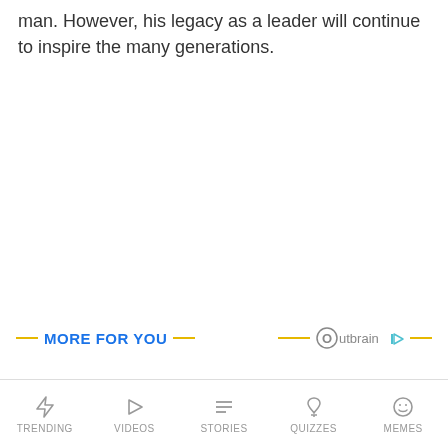man. However, his legacy as a leader will continue to inspire the many generations.
[Figure (infographic): MORE FOR YOU section header with yellow lines on left and right, and Outbrain logo on right side with yellow lines]
[Figure (infographic): Pagination dots: one large filled black dot and one smaller grey dot]
TRENDING  VIDEOS  STORIES  QUIZZES  MEMES